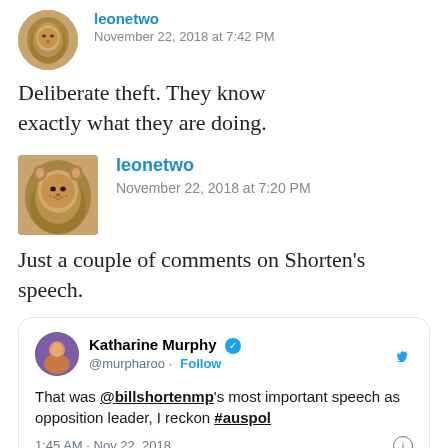[Figure (photo): Lion/lioness avatar photo, partial view at top]
leonetwo
November 22, 2018 at 7:42 PM
Deliberate theft. They know exactly what they are doing.
[Figure (photo): Lion/lioness avatar photo]
leonetwo
November 22, 2018 at 7:20 PM
Just a couple of comments on Shorten's speech.
[Figure (screenshot): Embedded tweet from Katharine Murphy (@murpharoo): 'That was @billshortenmp's most important speech as opposition leader, I reckon #auspol' — 1:45 AM · Nov 22, 2018]